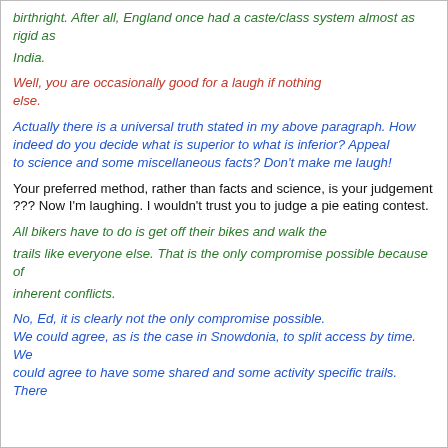birthright. After all, England once had a caste/class system almost as rigid as
India.
Well, you are occasionally good for a laugh if nothing else.
Actually there is a universal truth stated in my above paragraph. How indeed do you decide what is superior to what is inferior? Appeal to science and some miscellaneous facts? Don't make me laugh!
Your preferred method, rather than facts and science, is your judgement ??? Now I'm laughing. I wouldn't trust you to judge a pie eating contest.
All bikers have to do is get off their bikes and walk the
trails like everyone else. That is the only compromise possible because of
inherent conflicts.
No, Ed, it is clearly not the only compromise possible. We could agree, as is the case in Snowdonia, to split access by time. We could agree to have some shared and some activity specific trails. There